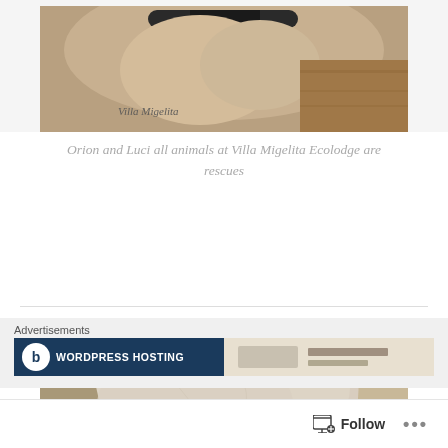[Figure (photo): Top portion of a dog photo showing a collar and back, with 'Villa Migelita' watermark text in the corner, warm wood floor background]
Orion and Luci all animals at Villa Migelita Ecolodge are rescues
[Figure (photo): Close-up face of a white/light-colored dog (pit bull type) looking directly at the camera with dark eyes, taken from above]
Advertisements
[Figure (screenshot): WordPress Hosting advertisement banner with dark blue background on left and lighter background on right]